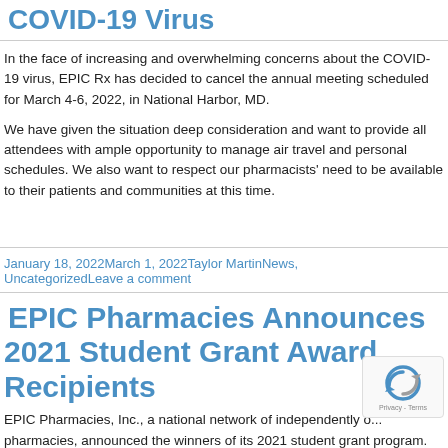COVID-19 Virus
In the face of increasing and overwhelming concerns about the COVID-19 virus, EPIC Rx has decided to cancel the annual meeting scheduled for March 4-6, 2022, in National Harbor, MD.
We have given the situation deep consideration and want to provide all attendees with ample opportunity to manage air travel and personal schedules. We also want to respect our pharmacists' need to be available to their patients and communities at this time.
January 18, 2022March 1, 2022Taylor MartinNews, UncategorizedLeave a comment
EPIC Pharmacies Announces 2021 Student Grant Award Recipients
EPIC Pharmacies, Inc., a national network of independently o... pharmacies, announced the winners of its 2021 student grant program. Grant we are scheduled to give have way to place about to participation...